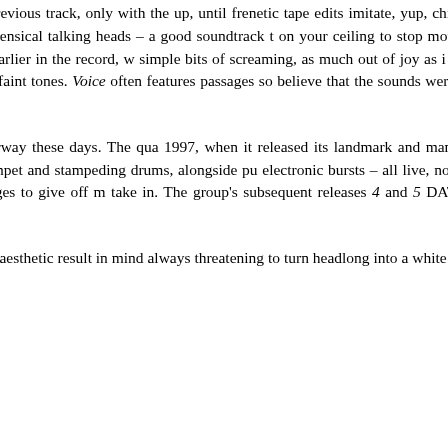voice to achieve a beautiful tone. "Chipmunk P... similar to that of the previous track, only with the... up, until frenetic tape edits imitate, yup, chipmu... kitschy, but it still works. "Acid" relies on... displacement hinted at by the use of the stereo t... non-sensical talking heads – a good soundtrack t... on your ceiling to stop moving late in the night (or... in the morning). "Insomnia" closes this incredible... to the noisier pastiches of earlier in the record, w... simple bits of screaming, as much out of joy as i... into a competition between the lone voice and th... one trying to outdo each other. The track fades a... and faint tones. Voice often features passages so... believe that the sounds were all generated wit... mingle with beautiful sections that never once see...
Supersilent is perhaps my favorite of the experi... acts coming from Norway these days. The qua... 1997, when it released its landmark and mamm... initial release for the then-fledgling Rune Gram... three disc set, reveled in walls of noise, scatt... trumpet and stampeding drums, alongside pu... electronic bursts – all live, no overdubs. All in all... categorize set, the type of music that challenges t... as possible, and yet still manages to give off m... take in. The group's subsequent releases 4 and 5... DATs) found them less in the red, emphasizin... tumbling assaults.
On their newest effort, the obviously titled 6, the... territory with the same aesthetic result in mind... always threatening to turn headlong into a white...